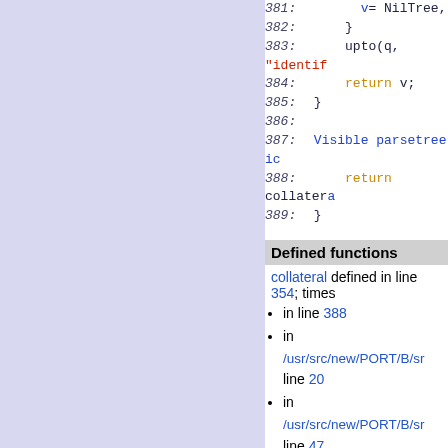[Figure (screenshot): Source code listing showing lines 381-389 with syntax highlighting. Line 381: v= NilTree, Line 382: }, Line 383: upto(q, "identif...", Line 384: return v;, Line 385: }, Line 386: (blank), Line 387: Visible parsetree id..., Line 388: return collateral..., Line 389: }]
Defined functions
collateral defined in line 354; times
in line 388
in /usr/src/new/PORT/B/sr... line 20
in /usr/src/new/PORT/B/sr... line 47
in /usr/src/new/PORT/B/sr... line 17
compound defined in line 358 6 times